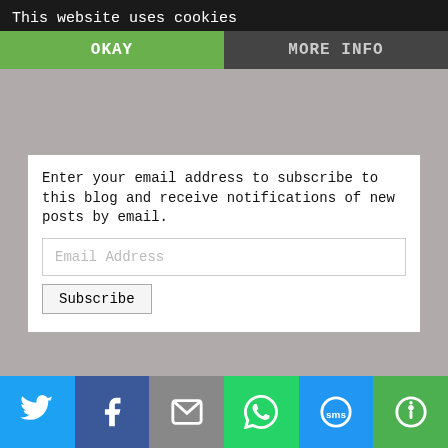This website uses cookies
OKAY
MORE INFO
Enter your email address to subscribe to this blog and receive notifications of new posts by email.
Email Address
Subscribe
Hi, I am Rachel!
A country girl at heart. I am a whole food cook. Growing up on the beautiful Canterbury plains of New Zealand I learned to cook from good wholesome raw ingredients. That has provided me with a good base fundamentals of where our food comes.